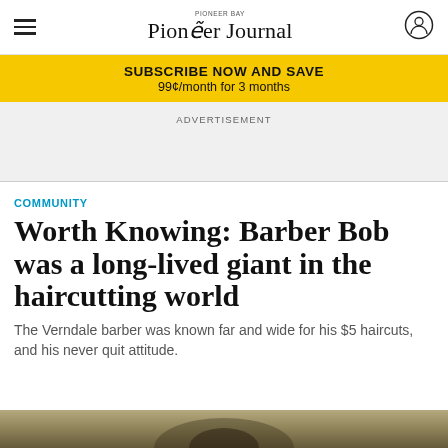Pioneer Journal
SUBSCRIBE NOW AND SAVE
99¢/month for 3 months
ADVERTISEMENT
COMMUNITY
Worth Knowing: Barber Bob was a long-lived giant in the haircutting world
The Verndale barber was known far and wide for his $5 haircuts, and his never quit attitude.
[Figure (photo): Bottom strip showing partial photo, appears to be a person, sepia/vintage tone]